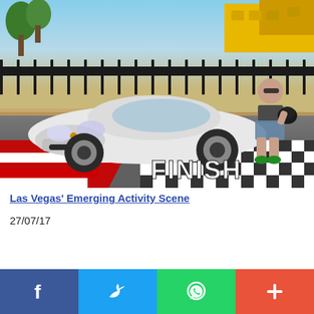[Figure (photo): White Porsche 911 GT3 at a finish line with red and white stripes and black-and-white checkered pattern. A man stands next to the car holding a helmet. Background shows palm trees, a yellow building, and a black iron fence. The word FINISH is visible on the ground.]
Las Vegas' Emerging Activity Scene
27/07/17
[Figure (infographic): Social media sharing bar with four buttons: Facebook (blue, f icon), Twitter (light blue, bird icon), WhatsApp (green, phone icon), More (red-orange, plus icon)]